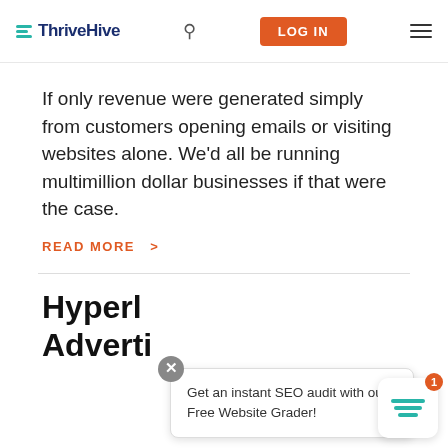ThriveHive — LOG IN
If only revenue were generated simply from customers opening emails or visiting websites alone. We'd all be running multimillion dollar businesses if that were the case.
READ MORE >
Hyperlo… Adverti…
Get an instant SEO audit with our Free Website Grader!